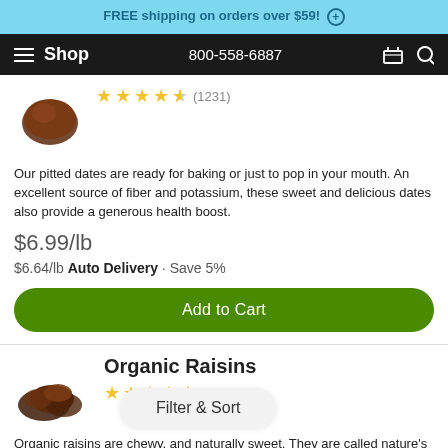FREE shipping on orders over $59! (+)
Shop  800-558-6887
Our pitted dates are ready for baking or just to pop in your mouth. An excellent source of fiber and potassium, these sweet and delicious dates also provide a generous health boost.
$6.99/lb
$6.64/lb Auto Delivery · Save 5%
Add to Cart
Organic Raisins
Organic raisins are chewy, and naturally sweet. They are called nature's candy because they're not only delicious, but also great for you. Raisins are also high in fiber, riboflavin, and...
Filter & Sort